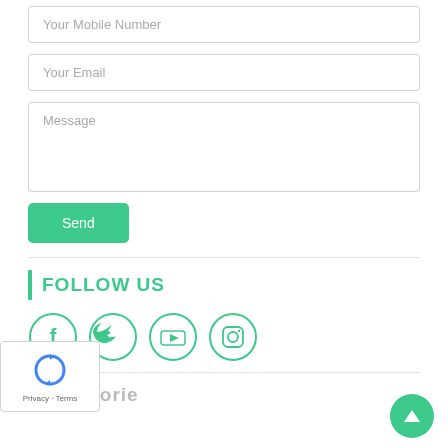Your Mobile Number
Your Email
Message
Send
FOLLOW US
[Figure (infographic): Four social media icon circles: Facebook, Twitter, YouTube, Instagram — outlined in teal/green]
[Figure (logo): reCAPTCHA widget with recycling-arrow logo and Privacy · Terms text]
[Figure (infographic): Green circular scroll-to-top button with upward arrow]
Categories